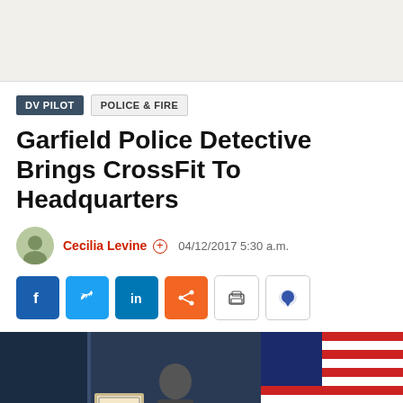DV PILOT | POLICE & FIRE
Garfield Police Detective Brings CrossFit To Headquarters
Cecilia Levine  04/12/2017 5:30 a.m.
[Figure (photo): Photo of a person standing in front of an American flag and a dark blue backdrop, with a framed certificate visible.]